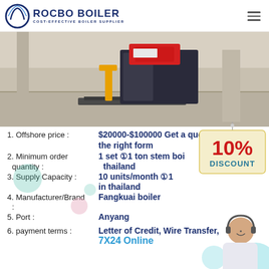ROCBO BOILER - COST-EFFECTIVE BOILER SUPPLIER
[Figure (photo): Industrial boiler on a pallet jack in a warehouse/factory floor setting]
1. Offshore price : $20000-$100000 Get a quote on the right form
2. Minimum order quantity : 1 set ①1 ton stem boiler thailand
3. Supply Capacity : 10 units/month ①1 in thailand
4. Manufacturer/Brand : Fangkuai boiler
5. Port : Anyang
6. payment terms : Letter of Credit, Wire Transfer, 7X24 Online